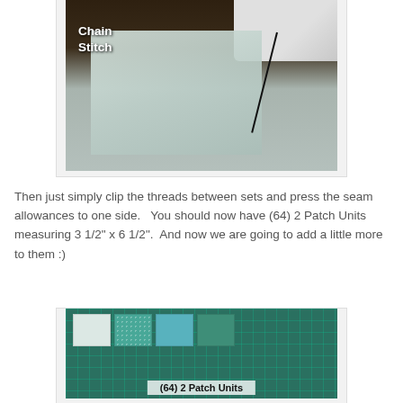[Figure (photo): Photo of a sewing machine performing a chain stitch on light-colored fabric, with label 'Chain Stitch' overlaid in white bold text]
Then just simply clip the threads between sets and press the seam allowances to one side.   You should now have (64) 2 Patch Units measuring 3 1/2" x 6 1/2".  And now we are going to add a little more to them :)
[Figure (photo): Photo of quilting fabric patch units arranged on a green cutting mat, labeled '(64) 2 Patch Units' in black bold text on a white banner]